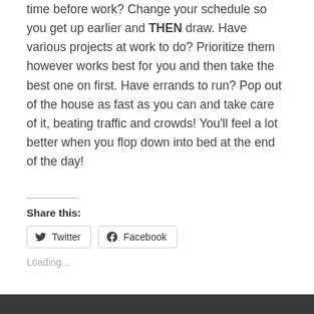time before work? Change your schedule so you get up earlier and THEN draw. Have various projects at work to do? Prioritize them however works best for you and then take the best one on first. Have errands to run? Pop out of the house as fast as you can and take care of it, beating traffic and crowds! You'll feel a lot better when you flop down into bed at the end of the day!
Share this:
Twitter
Facebook
Loading...